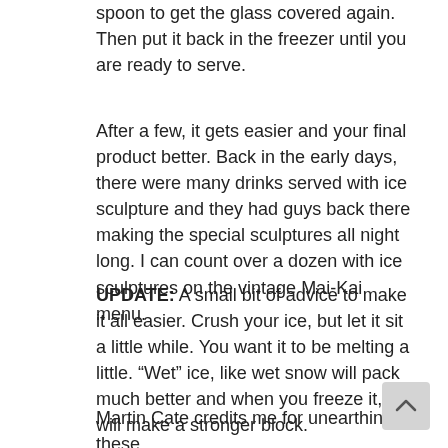spoon to get the glass covered again. Then put it back in the freezer until you are ready to serve.
After a few, it gets easier and your final product better. Back in the early days, there were many drinks served with ice sculpture and they had guys back there making the special sculptures all night long. I can count over a dozen with ice sculptures on the vintage Mai-Kai menu.
UPDATE: A small bit of advice to make it all easier. Crush your ice, but let it sit a little while. You want it to be melting a little. “Wet” ice, like wet snow will pack much better and when you freeze it, it will make a stronger block.
Martin Cate credits me for unearthing these instructions in his next book Smuggler’s Cove and...